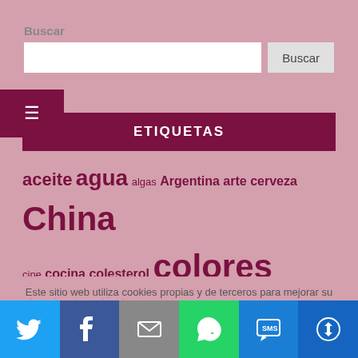Buscar
[Figure (screenshot): Search input field with Buscar button]
[Figure (infographic): Hamburger menu icon on dark red background]
ETIQUETAS
aceite agua algas Argentina arte cerveza China cine cocina colesterol colores desierto dietas Egipto espacio estudio Francia Galicia
Este sitio web utiliza cookies propias y de terceros para mejorar su experiencia de navegación y realizar tareas de analítica. Por favor, haga clic en el botón para aceptar nuestra Política de
[Figure (infographic): Social share bar with Twitter, Facebook, Email, WhatsApp, SMS, and More buttons]